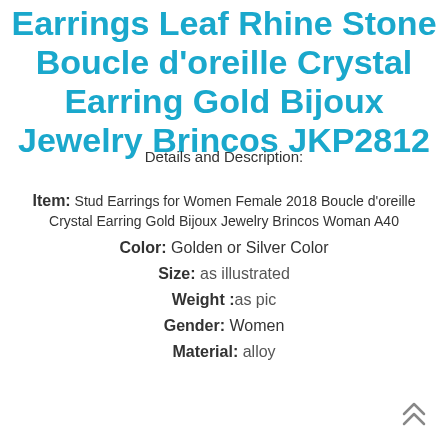Earrings Leaf Rhine Stone Boucle d'oreille Crystal Earring Gold Bijoux Jewelry Brincos JKP2812
Details and Description:
Item: Stud Earrings for Women Female 2018 Boucle d'oreille Crystal Earring Gold Bijoux Jewelry Brincos Woman A40
Color: Golden or Silver Color
Size: as illustrated
Weight :as pic
Gender: Women
Material: alloy